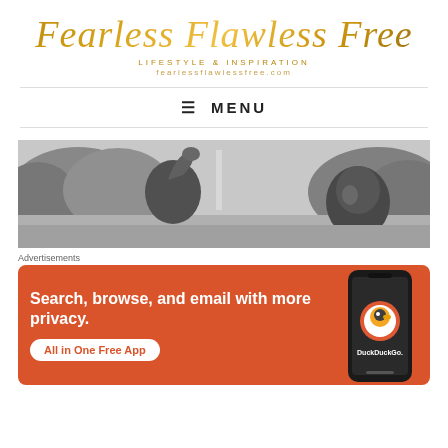Fearless Flawless Free
LIFESTYLE & INSPIRATION
fearlessflawlessfree.com
≡ MENU
[Figure (photo): Black and white photograph of a man (appearing to be Martin Luther King Jr.) waving to a crowd, with trees and the Washington Monument visible in the background.]
Advertisements
[Figure (screenshot): DuckDuckGo advertisement with orange background. Text reads: Search, browse, and email with more privacy. All in One Free App. Shows a smartphone displaying the DuckDuckGo app icon and logo.]